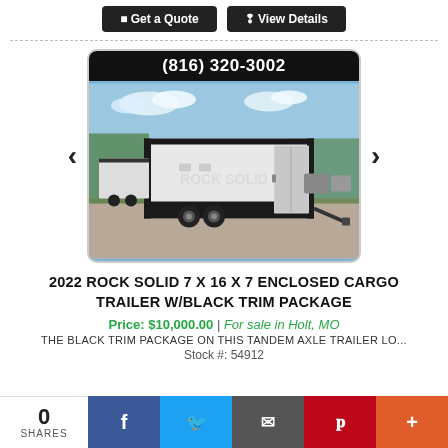[Figure (screenshot): Two buttons: 'Get a Quote' and 'View Details' on dark background]
[Figure (photo): 2022 Rock Solid enclosed cargo trailer with black trim package, white body, parked on gravel lot. Phone number (816) 320-3002 shown on black header bar above photo.]
2022 ROCK SOLID 7 X 16 X 7 ENCLOSED CARGO TRAILER W/BLACK TRIM PACKAGE
Price: $10,000.00 | For sale in Holt, MO
THE BLACK TRIM PACKAGE ON THIS TANDEM AXLE TRAILER LO...
Stock #: 54912
0 SHARES | Facebook | Twitter | Email | Pinterest | More